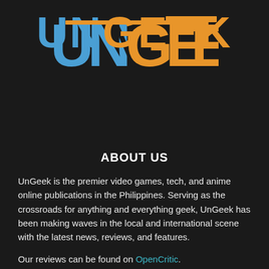[Figure (logo): UnGeek logo in large stylized text with 'UN' in blue and 'GEEK' in orange, on a dark background]
ABOUT US
UnGeek is the premier video games, tech, and anime online publications in the Philippines. Serving as the crossroads for anything and everything geek, UnGeek has been making waves in the local and international scene with the latest news, reviews, and features.
Our reviews can be found on OpenCritic.
Contact us: contact@ungeek.ph
FOLLOW US